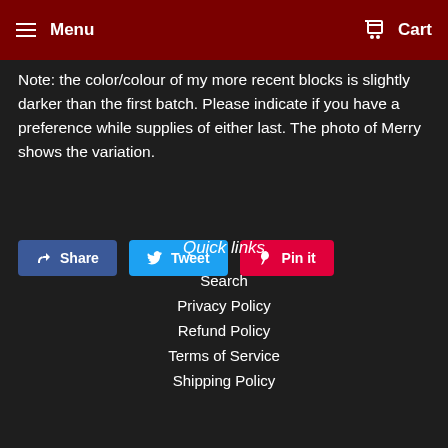Menu   Cart
Note: the color/colour of my more recent blocks is slightly darker than the first batch.  Please indicate if you have a preference while supplies of either last. The photo of Merry shows the variation.
[Figure (other): Social sharing buttons: Share (Facebook, blue), Tweet (Twitter, light blue), Pin it (Pinterest, red)]
Quick links
Search
Privacy Policy
Refund Policy
Terms of Service
Shipping Policy